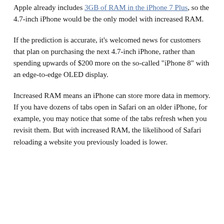Apple already includes 3GB of RAM in the iPhone 7 Plus, so the 4.7-inch iPhone would be the only model with increased RAM.
If the prediction is accurate, it's welcomed news for customers that plan on purchasing the next 4.7-inch iPhone, rather than spending upwards of $200 more on the so-called "iPhone 8" with an edge-to-edge OLED display.
Increased RAM means an iPhone can store more data in memory. If you have dozens of tabs open in Safari on an older iPhone, for example, you may notice that some of the tabs refresh when you revisit them. But with increased RAM, the likelihood of Safari reloading a website you previously loaded is lower.